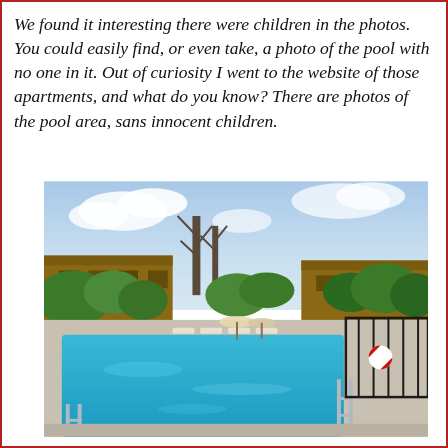We found it interesting there were children in the photos. You could easily find, or even take, a photo of the pool with no one in it. Out of curiosity I went to the website of those apartments, and what do you know? There are photos of the pool area, sans innocent children.
[Figure (photo): Outdoor swimming pool area at an apartment complex. The pool is filled with clear blue water, surrounded by a concrete deck with white lounge chairs and umbrellas. A black metal fence encloses the pool area. In the background there are trees, bushes, and brown apartment buildings under a partly cloudy sky. A red and white life preserver ring is visible on the right side of the fence.]